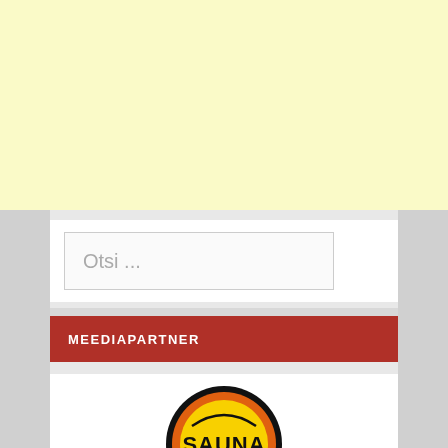[Figure (other): Light yellow banner area at top of page, likely an advertisement space]
Otsi ...
MEEDIAPARTNER
[Figure (logo): Sauna logo — circular badge with black border, yellow and orange background, text reading SAUNA in bold black letters, partially cropped at bottom of page]